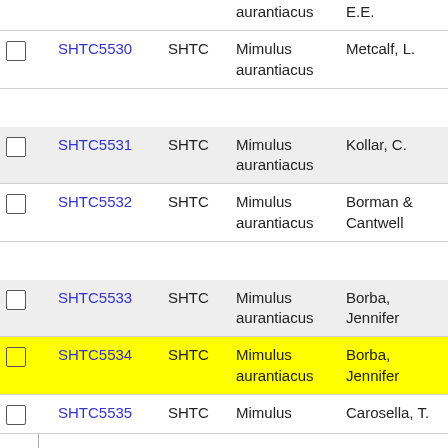|  | Accession | Source | Species | Collector | Count |
| --- | --- | --- | --- | --- | --- |
|  | aurantiacus |  |  | E.E. |  |
| ☐ | SHTC5530 | SHTC | Mimulus aurantiacus | Metcalf, L. | 101 |
| ☐ | SHTC5531 | SHTC | Mimulus aurantiacus | Kollar, C. | 121 |
| ☐ | SHTC5532 | SHTC | Mimulus aurantiacus | Borman & Cantwell | 214 |
| ☐ | SHTC5533 | SHTC | Mimulus aurantiacus | Borba, Jennifer | 54 |
| ☐ (yellow) | SHTC5534 | SHTC | Mimulus aurantiacus | Borba, Jennifer | 48 |
| ☐ | SHTC5535 | SHTC | Mimulus | Carosella, T. |  |